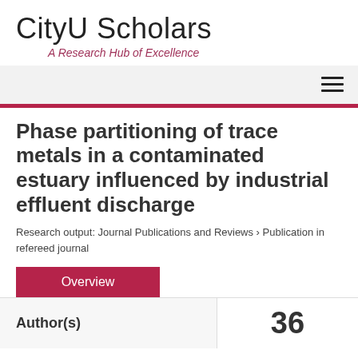CityU Scholars
A Research Hub of Excellence
Phase partitioning of trace metals in a contaminated estuary influenced by industrial effluent discharge
Research output: Journal Publications and Reviews › Publication in refereed journal
Overview
| Author(s) | 36 |
| --- | --- |